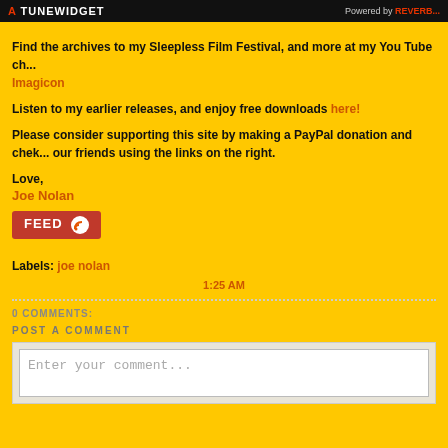A TUNEWIDGET   Powered by REVERB...
Find the archives to my Sleepless Film Festival, and more at my You Tube ch... Imagicon
Listen to my earlier releases, and enjoy free downloads here!
Please consider supporting this site by making a PayPal donation and chek... our friends using the links on the right.
Love,
Joe Nolan
[Figure (other): FEED button/badge in red with orange icon]
Labels: joe nolan
1:25 AM
0 COMMENTS:
POST A COMMENT
Enter your comment...